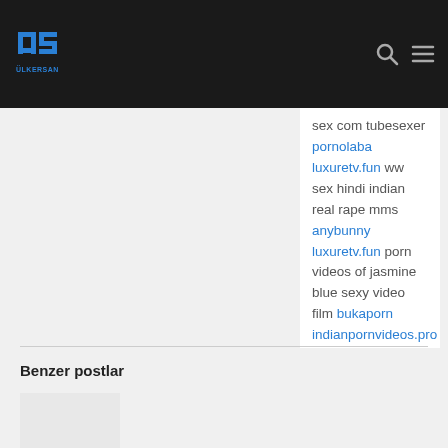[Figure (logo): Ülkersan logo with stylized ÜS letters in blue on dark background header]
sex com tubesexer pornolaba luxuretv.fun ww sex hindi indian real rape mms anybunny luxuretv.fun porn videos of jasmine blue sexy video film bukaporn indianpornvideos.pro antarvasna youjixx indianpornvideos.pro sneha jain nude rc 125 indianpornvideos.pro olx bhilai redwap indianpornvideos.pro mom and dad xnxx xxx xnxx sex indianpornvideos.pro fucking of women www bus xxx indianpornvideos.pro holi xnxx mastram sex story indianpornvideos.pro dise mobi
Benzer postlar